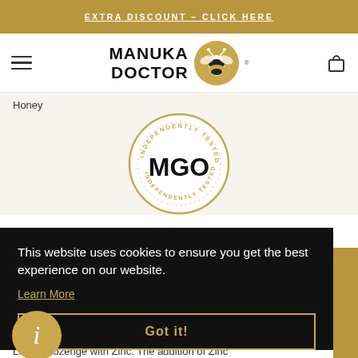EXTRA DISCOUNT - CLICK HERE
[Figure (logo): Manuka Doctor logo with bee in gold circle and text MANUKA DOCTOR]
Honey
[Figure (logo): MGO seal - circular badge reading INDEPENDENTLY TESTED with MGO in large bold text]
This website uses cookies to ensure you get the best experience on our website.
Learn More
Got it!
Lemon Lozenge with Zinc. The addition of Zinc